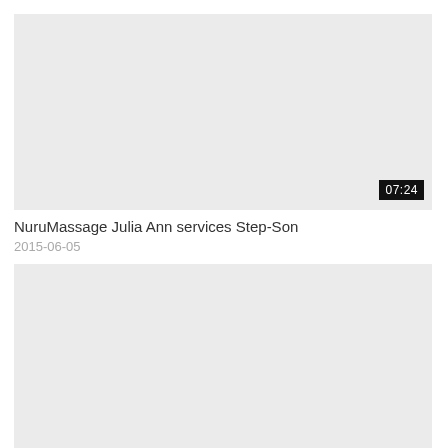[Figure (other): Video thumbnail placeholder, light gray rectangle with duration badge showing 07:24]
NuruMassage Julia Ann services Step-Son
2015-06-05
[Figure (other): Video thumbnail placeholder, light gray rectangle, no duration badge visible]